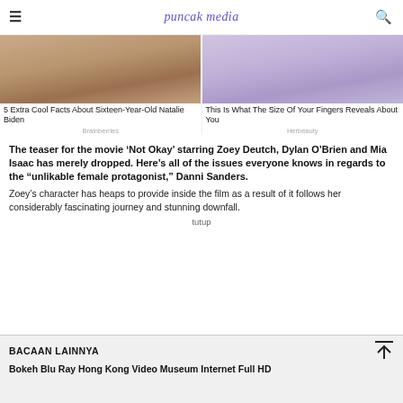puncak media
[Figure (photo): Two side-by-side advertisement images: left shows a person holding a phone (skin tones, brownish), right shows a person with hands near face (lavender/purple tones)]
5 Extra Cool Facts About Sixteen-Year-Old Natalie Biden
This Is What The Size Of Your Fingers Reveals About You
Brainberries
Herbeauty
The teaser for the movie ‘Not Okay’ starring Zoey Deutch, Dylan O’Brien and Mia Isaac has merely dropped. Here’s all of the issues everyone knows in regards to the “unlikable female protagonist,” Danni Sanders.
Zoey’s character has heaps to provide inside the film as a result of it follows her considerably fascinating journey and stunning downfall.
tutup
BACAAN LAINNYA
Bokeh Blu Ray Hong Kong Video Museum Internet Full HD